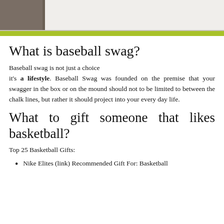[Figure (photo): Partial photo at top of page showing a dark textured surface on the left and a white/light area with a yellow-green horizontal stripe near the bottom of the image.]
What is baseball swag?
Baseball swag is not just a choice it's a lifestyle. Baseball Swag was founded on the premise that your swagger in the box or on the mound should not to be limited to between the chalk lines, but rather it should project into your every day life.
What to gift someone that likes basketball?
Top 25 Basketball Gifts:
Nike Elites (link) Recommended Gift For: Basketball